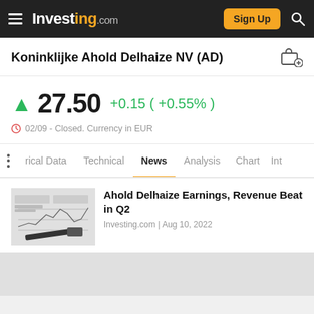Investing.com — Sign Up
Koninklijke Ahold Delhaize NV (AD)
27.50 +0.15 ( +0.55% )
02/09 - Closed. Currency in EUR
rical Data  Technical  News  Analysis  Chart  Int
Ahold Delhaize Earnings, Revenue Beat in Q2
Investing.com | Aug 10, 2022